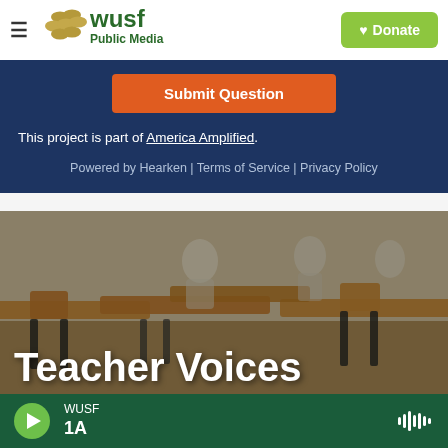[Figure (logo): WUSF Public Media logo with golden circles and green text]
Submit Question
This project is part of America Amplified.
Powered by Hearken | Terms of Service | Privacy Policy
[Figure (photo): Classroom scene with wooden desks and chairs, students in background, overlaid with 'Teacher Voices' title text]
Teacher Voices
WUSF 1A